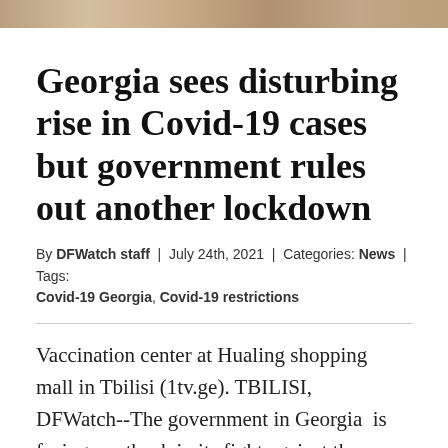[Figure (photo): Partial top strip of a photo showing a vaccination center, cropped at top of page]
Georgia sees disturbing rise in Covid-19 cases but government rules out another lockdown
By DFWatch staff | July 24th, 2021 | Categories: News | Tags: Covid-19 Georgia, Covid-19 restrictions
Vaccination center at Hualing shopping mall in Tbilisi (1tv.ge). TBILISI, DFWatch--The government in Georgia  is facing a setback in its fight against the coronavirus as experts predict an increase in daily cases in the next 2-3 weeks, but government reiterates that it’s not planning another lockdown. Meanwhile, the mass vaccination